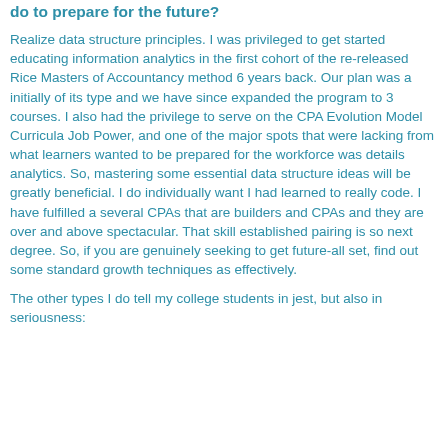do to prepare for the future?
Realize data structure principles. I was privileged to get started educating information analytics in the first cohort of the re-released Rice Masters of Accountancy method 6 years back. Our plan was a initially of its type and we have since expanded the program to 3 courses. I also had the privilege to serve on the CPA Evolution Model Curricula Job Power, and one of the major spots that were lacking from what learners wanted to be prepared for the workforce was details analytics. So, mastering some essential data structure ideas will be greatly beneficial. I do individually want I had learned to really code. I have fulfilled a several CPAs that are builders and CPAs and they are over and above spectacular. That skill established pairing is so next degree. So, if you are genuinely seeking to get future-all set, find out some standard growth techniques as effectively.
The other types I do tell my college students in jest, but also in seriousness: